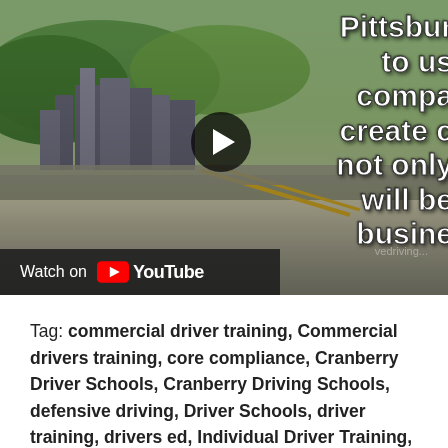[Figure (screenshot): YouTube video thumbnail showing aerial view of Pittsburgh city skyline with river and bridge, with overlay text partially visible on right side reading 'Pittsbur... to us... compa... create c... not only... will be... busine...' and a play button in center, with 'Watch on YouTube' bar at bottom left]
Tag: commercial driver training, Commercial drivers training, core compliance, Cranberry Driver Schools, Cranberry Driving Schools, defensive driving, Driver Schools, driver training, drivers ed, Individual Driver Training, jim clair, Pittsburgh, Pittsburgh Defensive Driving and Training, Pittsburgh Driver